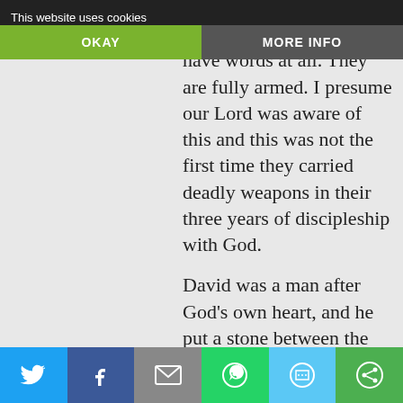This website uses cookies | OKAY | MORE INFO
November 25, 2015 at 9:22 PM
But interesting that they have words at all. They are fully armed. I presume our Lord was aware of this and this was not the first time they carried deadly weapons in their three years of discipleship with God.
David was a man after God’s own heart, and he put a stone between the eyes of God’s chosen people’s mortal
Share bar: Twitter, Facebook, Email, WhatsApp, SMS, Other